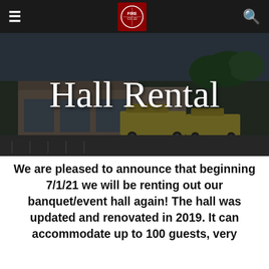Navigation bar with hamburger menu, fire company logo, and search icon
[Figure (photo): Aerial/3D rendering of a fire station with yellow fire trucks parked outside, parking lot visible, trees in background. Dark overlay applied. Title 'Hall Rental' overlaid in large white serif text.]
Hall Rental
We are pleased to announce that beginning 7/1/21 we will be renting out our banquet/event hall again! The hall was updated and renovated in 2019. It can accommodate up to 100 guests, very